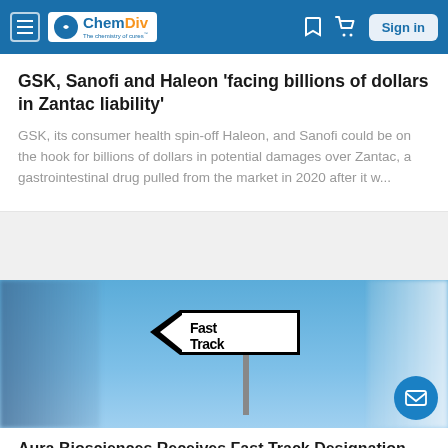ChemDiv — The chemistry of cures
GSK, Sanofi and Haleon 'facing billions of dollars in Zantac liability'
GSK, its consumer health spin-off Haleon, and Sanofi could be on the hook for billions of dollars in potential damages over Zantac, a gastrointestinal drug pulled from the market in 2020 after it w...
[Figure (photo): Road sign reading 'Fast Track' with an arrow pointing left, against a blue sky background]
Aura Biosciences Receives Fast Track Designation for